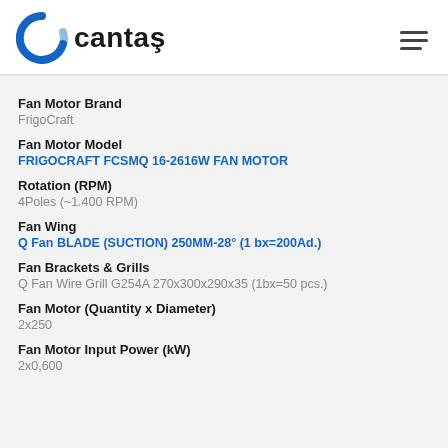cantaş
Fan Motor Brand: FrigoCraft
Fan Motor Model: FRIGOCRAFT FCSMQ 16-2616W FAN MOTOR
Rotation (RPM): 4Poles (~1.400 RPM)
Fan Wing: Q Fan BLADE (SUCTION) 250MM-28° (1 bx=200Ad.)
Fan Brackets & Grills: Q Fan Wire Grill G254A 270x300x290x35 (1bx=50 pcs.)
Fan Motor (Quantity x Diameter): 2x250
Fan Motor Input Power (kW): 2x0,600